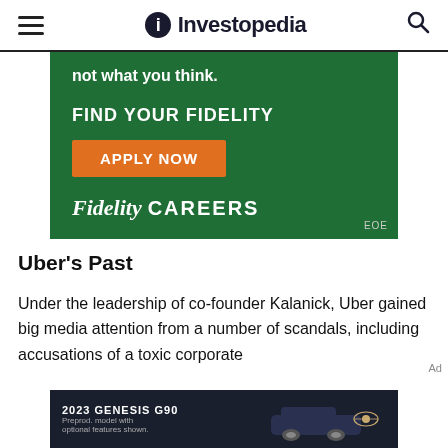Investopedia
[Figure (infographic): Fidelity Careers advertisement on green background. Text: 'not what you think.' FIND YOUR FIDELITY, APPLY NOW button, Fidelity CAREERS, EOE]
Uber's Past
Under the leadership of co-founder Kalanick, Uber gained big media attention from a number of scandals, including accusations of a toxic corporate
[Figure (infographic): 2023 Genesis G90 car advertisement. Dark background with car image. Text: '2023 GENESIS G90', 'Preprod. model with optional features shown.']